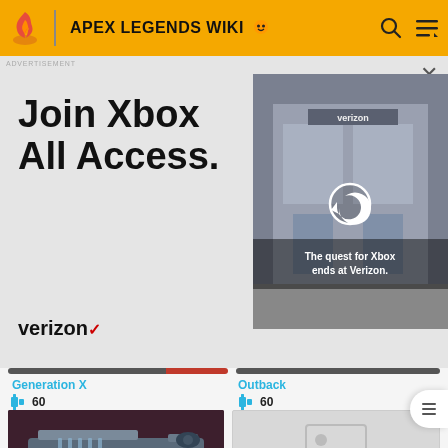APEX LEGENDS WIKI
[Figure (screenshot): Verizon advertisement for Xbox All Access with text 'Join Xbox All Access.' and Verizon logo, plus video thumbnail of a Verizon store]
Generation X
60
Outback
60
[Figure (photo): Apex Legends weapon skin - Sweet 16]
[Figure (photo): Image placeholder for Cold Fusion skin]
Sweet 16
60
Cold Fusion
60
[Figure (photo): Apex Legends weapon skin (bottom, partially visible)]
[Figure (photo): Image placeholder (bottom right, partially visible)]